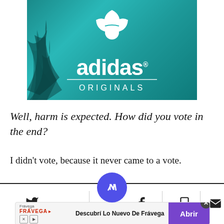[Figure (logo): Adidas Originals logo on teal/tropical background with palm leaves]
Well, harm is expected. How did you vote in the end?
I didn't vote, because it never came to a vote.
[Figure (screenshot): Social share bar with Twitter, Facebook, news app (blue circle), bookmark, and email icons]
[Figure (screenshot): Advertisement banner: Frávega — Descubrí Lo Nuevo De Frávega — Abrir button]